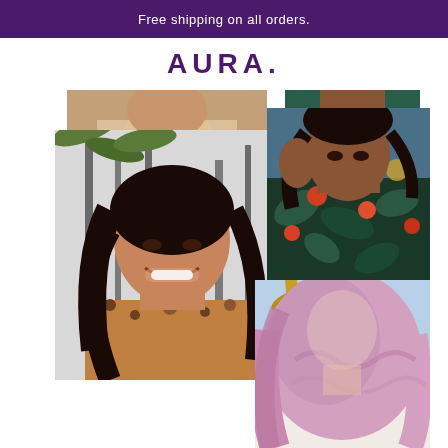Free shipping on all orders.
[Figure (logo): AURA. brand logo in purple serif-style font]
[Figure (photo): Collage of four lifestyle photos of women with various hair styles: top-left shows partial crop of woman in beige, top-right shows partial crop of a woman in a tropical floral dress, main left shows Asian woman with long dark hair laughing outdoors with palm trees, bottom-right shows woman from behind with long pink/lavender hair wearing white off-shoulder top]